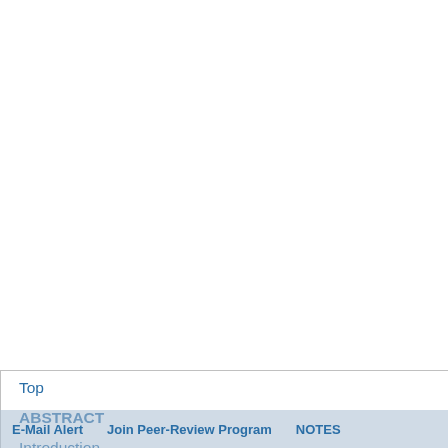vironment, is characteris... inadequate [3] - [5] . Fluha... calves (226 kg) fed a 1... treatment effects on weigh... deposition is a function o... evaluating protein nutritio... The objective of the pre... tabolizable protein supply... performance and dietary N...
2. Materials and M...
One hundred eight mediu... area were trucked to the... were branded, castrate... stridials/Haemophilus (Ult... Plus, Merck, Rahway, NJ... CA), and implanted with... assigned at random with...
Top
ABSTRACT
Introduction
Materials and Methods
Results and Discussion
Conclusion
References
E-Mail Alert    Join Peer-Review Program    NOTES